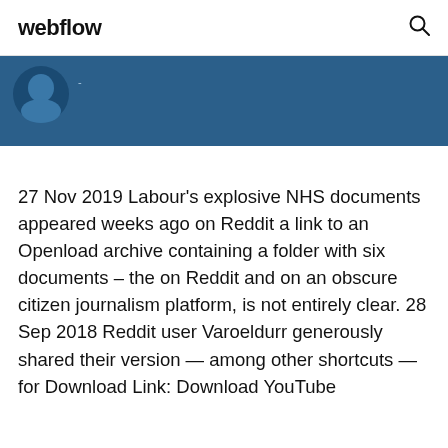webflow
[Figure (other): Dark blue banner with a small avatar icon on the left side]
27 Nov 2019 Labour's explosive NHS documents appeared weeks ago on Reddit a link to an Openload archive containing a folder with six documents – the on Reddit and on an obscure citizen journalism platform, is not entirely clear. 28 Sep 2018 Reddit user Varoeldurr generously shared their version — among other shortcuts — for Download Link: Download YouTube